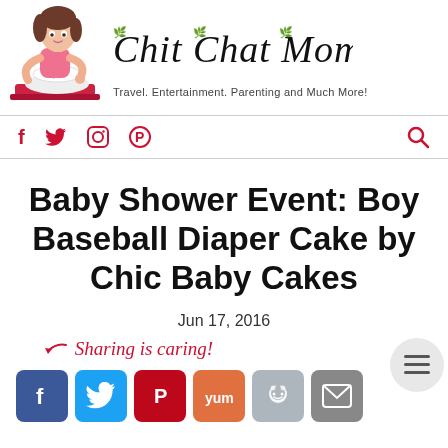[Figure (logo): Chit Chat Mom blog logo with cartoon woman illustration and stylized script text 'Chit Chat Mom' with tagline 'Travel. Entertainment. Parenting and Much More!']
[Figure (infographic): Navigation bar with social media icons (Facebook, Twitter, Instagram, Pinterest) and a search icon on the right]
Baby Shower Event: Boy Baseball Diaper Cake by Chic Baby Cakes
Jun 17, 2016
Sharing is caring!
[Figure (infographic): Social sharing buttons row: Facebook, Twitter, Pinterest, Yummly, Reddit, Email]